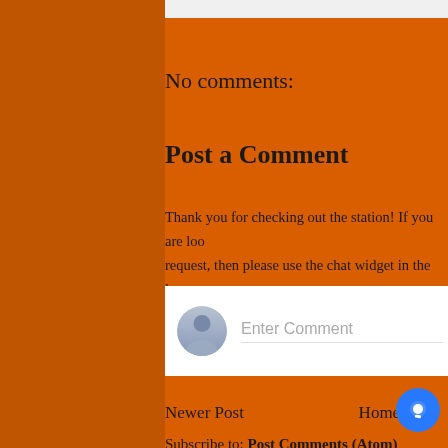No comments:
Post a Comment
Thank you for checking out the station! If you are loo… request, then please use the chat widget in the lower…
[Figure (screenshot): Comment input box with avatar placeholder and 'Enter Comment' text field]
Newer Post    Home
Subscribe to: Post Comments (Atom)